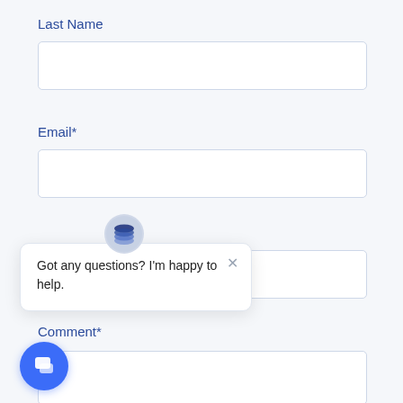Last Name
[Figure (screenshot): Empty text input field for Last Name]
Email*
[Figure (screenshot): Empty text input field for Email]
[Figure (screenshot): Chat popup widget with logo icon showing message: Got any questions? I'm happy to help. With close X button]
Comment*
[Figure (screenshot): Empty textarea for Comment]
[Figure (screenshot): Blue circular chat bubble button at bottom left]